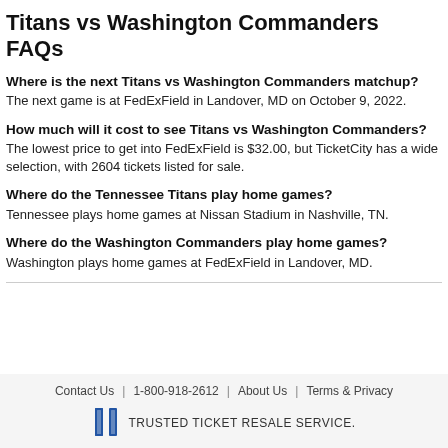Titans vs Washington Commanders FAQs
Where is the next Titans vs Washington Commanders matchup?
The next game is at FedExField in Landover, MD on October 9, 2022.
How much will it cost to see Titans vs Washington Commanders?
The lowest price to get into FedExField is $32.00, but TicketCity has a wide selection, with 2604 tickets listed for sale.
Where do the Tennessee Titans play home games?
Tennessee plays home games at Nissan Stadium in Nashville, TN.
Where do the Washington Commanders play home games?
Washington plays home games at FedExField in Landover, MD.
Contact Us | 1-800-918-2612 | About Us | Terms & Privacy
TRUSTED TICKET RESALE SERVICE.